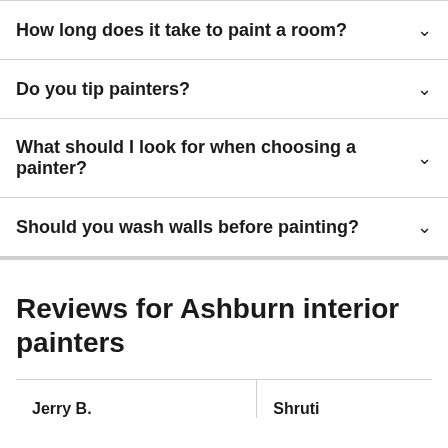How long does it take to paint a room?
Do you tip painters?
What should I look for when choosing a painter?
Should you wash walls before painting?
Reviews for Ashburn interior painters
Jerry B.
Shruti